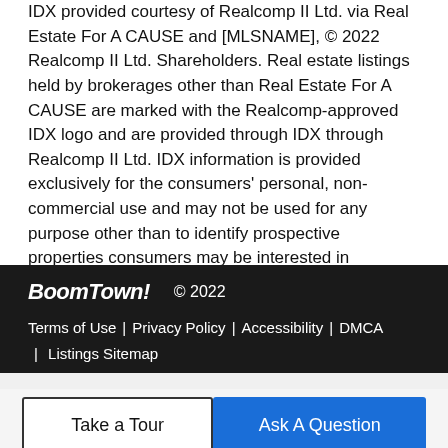IDX provided courtesy of Realcomp II Ltd. via Real Estate For A CAUSE and [MLSNAME], © 2022 Realcomp II Ltd. Shareholders. Real estate listings held by brokerages other than Real Estate For A CAUSE are marked with the Realcomp-approved IDX logo and are provided through IDX through Realcomp II Ltd. IDX information is provided exclusively for the consumers' personal, non-commercial use and may not be used for any purpose other than to identify prospective properties consumers may be interested in purchasing. Any use of search facilities of data on the site, other than by a consumer looking to purchase real estate, is prohibited. The accuracy of all information, regardless of source, is not guaranteed or warranted. All information should be independently verified. Data last updated: 2022-08-24T17:59:00.98.
BoomTown!  © 2022  |  Terms of Use  |  Privacy Policy  |  Accessibility  |  DMCA  |  Listings Sitemap
Take a Tour
Ask A Question